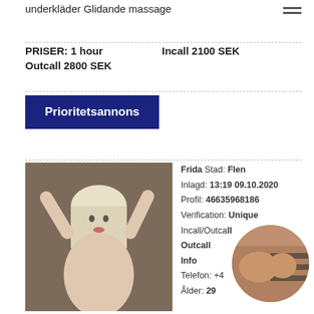underkläder Glidande massage
PRISER: 1 hour   Incall 2100 SEK
Outcall 2800 SEK
Prioritetsannons
[Figure (photo): Blonde woman photo]
Frida Stad: Flen
Inlagd: 13:19 09.10.2020
Profil: 46635968186
Verification: Unique
Incall/Outcall
Outcall
Info
Telefon: +4...
Ålder: 29
[Figure (photo): Circular cropped photo overlay]